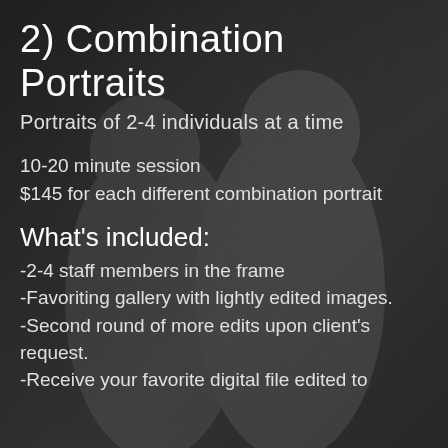[Figure (photo): A dark, moody wedding photo of a couple facing each other. The woman wears a floral crown and the man wears a suit with a boutonniere. The image is heavily darkened/overlaid.]
2) Combination Portraits
Portraits of 2-4 individuals at a time
10-20 minute session
$145 for each different combination portrait
What's included:
-2-4 staff members in the frame
-Favoriting gallery with lightly edited images.
-Second round of more edits upon client's request.
-Receive your favorite digital file edited to